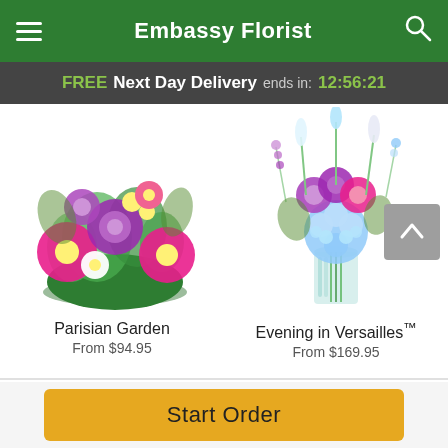Embassy Florist
FREE Next Day Delivery ends in: 12:56:21
[Figure (photo): Colorful flower bouquet in a round green bowl — Parisian Garden. Pink gerberas, purple/lavender roses, yellow flowers, and mixed greenery.]
Parisian Garden
From $94.95
[Figure (photo): Elegant floral arrangement in a clear glass vase — Evening in Versailles. Blue hydrangeas, lavender/purple roses, white flowers, and tall greenery.]
Evening in Versailles™
From $169.95
Start Order